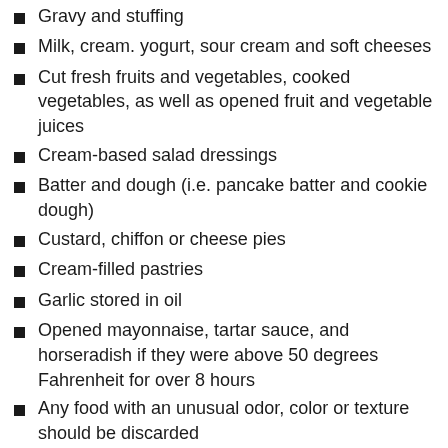Gravy and stuffing
Milk, cream. yogurt, sour cream and soft cheeses
Cut fresh fruits and vegetables, cooked vegetables, as well as opened fruit and vegetable juices
Cream-based salad dressings
Batter and dough (i.e. pancake batter and cookie dough)
Custard, chiffon or cheese pies
Cream-filled pastries
Garlic stored in oil
Opened mayonnaise, tartar sauce, and horseradish if they were above 50 degrees Fahrenheit for over 8 hours
Any food with an unusual odor, color or texture should be discarded
8. Never taste food to determine its safety. When in